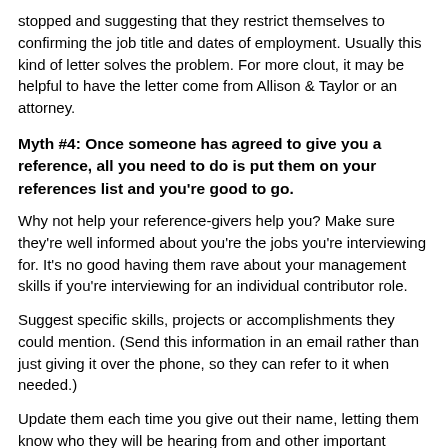stopped and suggesting that they restrict themselves to confirming the job title and dates of employment. Usually this kind of letter solves the problem. For more clout, it may be helpful to have the letter come from Allison & Taylor or an attorney.
Myth #4: Once someone has agreed to give you a reference, all you need to do is put them on your references list and you're good to go.
Why not help your reference-givers help you? Make sure they're well informed about you're the jobs you're interviewing for. It's no good having them rave about your management skills if you're interviewing for an individual contributor role.
Suggest specific skills, projects or accomplishments they could mention. (Send this information in an email rather than just giving it over the phone, so they can refer to it when needed.)
Update them each time you give out their name, letting them know who they will be hearing from and other important specifics about the opportunity.